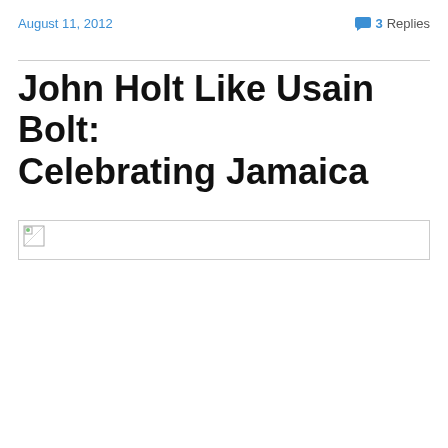August 11, 2012   3 Replies
John Holt Like Usain Bolt: Celebrating Jamaica
[Figure (photo): Broken image placeholder at top of article]